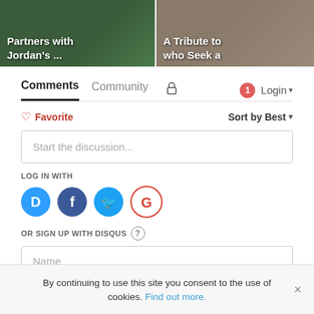[Figure (screenshot): Two thumbnail images side by side: left shows green background with text 'Partners with Jordan's ...'; right shows people/outdoor image with text 'A Tribute to who Seek a']
Comments   Community   Login
♡ Favorite   Sort by Best ▾
Start the discussion...
LOG IN WITH
[Figure (logo): Social login icons: Disqus (blue D), Facebook (dark blue f), Twitter (light blue bird), Google (red G)]
OR SIGN UP WITH DISQUS ?
Name
By continuing to use this site you consent to the use of cookies. Find out more.